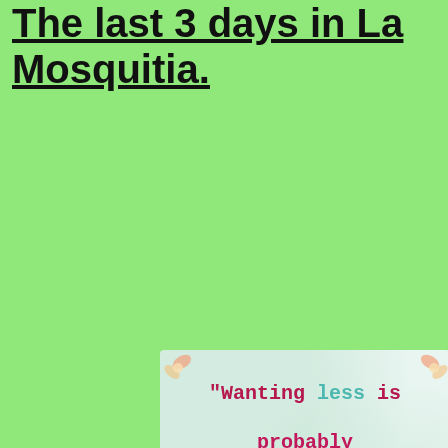The last 3 days in La Mosquitia.
[Figure (illustration): A decorative quote card with light mint/green background and floral corner decorations. The quote reads: “Wanting less is probably a better blessing than having more.” with words in alternating colors (maroon, teal, purple, gold, cyan). Attribution at bottom right: -Mary Ellen Edmund.]